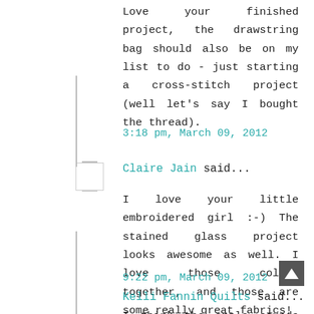Love your finished project, the drawstring bag should also be on my list to do - just starting a cross-stitch project (well let's say I bought the thread).
3:18 pm, March 09, 2012
Claire Jain said...
I love your little embroidered girl :-) The stained glass project looks awesome as well. I love those colors together, and those are some really great fabrics!
9:22 pm, March 09, 2012
Kelli Fannin Quilts said...
I think the apple sounds great too! And I